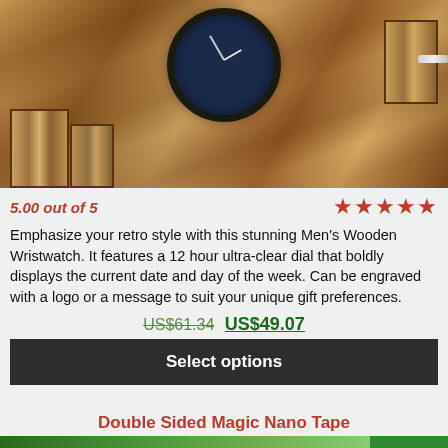[Figure (photo): Close-up photo of a Men's Wooden Wristwatch with zebra wood bracelet and dark dial, showing intricate wood grain detail on a dark background.]
5.00 out of 5
[Figure (other): Five red star rating icons]
Emphasize your retro style with this stunning Men’s Wooden Wristwatch. It features a 12 hour ultra-clear dial that boldly displays the current date and day of the week. Can be engraved with a logo or a message to suit your unique gift preferences.
US$61.34 US$49.07
Select options
Double Sided Magic Nano Tape
57% off!